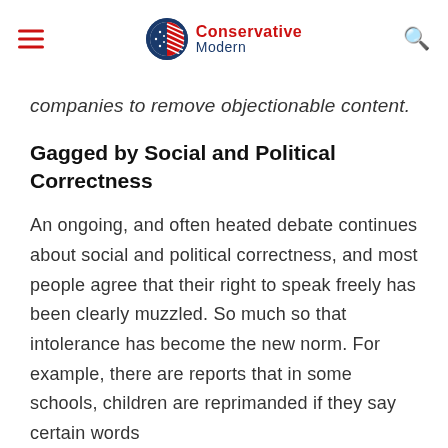Conservative Modern
companies to remove objectionable content.
Gagged by Social and Political Correctness
An ongoing, and often heated debate continues about social and political correctness, and most people agree that their right to speak freely has been clearly muzzled. So much so that intolerance has become the new norm. For example, there are reports that in some schools, children are reprimanded if they say certain words